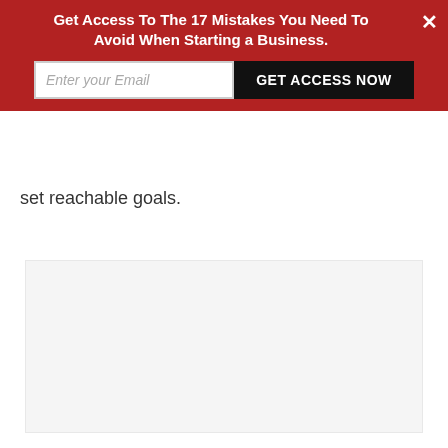Get Access To The 17 Mistakes You Need To Avoid When Starting a Business.
set reachable goals.
[Figure (other): Large light gray placeholder image block]